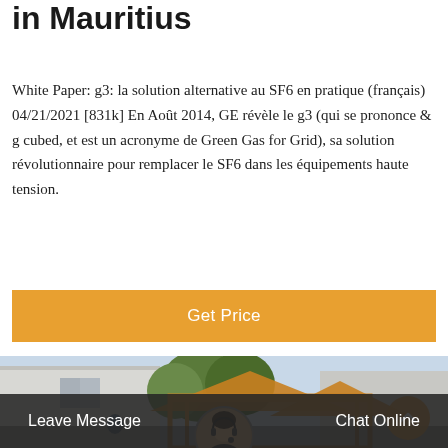in Mauritius
White Paper: g3: la solution alternative au SF6 en pratique (français) 04/21/2021 [831k] En Août 2014, GE révèle le g3 (qui se prononce & g cubed, et est un acronyme de Green Gas for Grid), sa solution révolutionnaire pour remplacer le SF6 dans les équipements haute tension.
Get Price
[Figure (photo): Outdoor industrial or electrical equipment installation with a yellow/orange metal frame structure in front of a white building, trees visible in background against a light blue sky.]
Leave Message    Chat Online